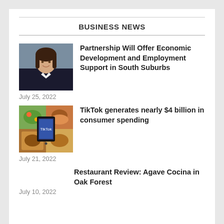BUSINESS NEWS
[Figure (photo): Headshot of a woman with dark hair wearing a dark blazer]
Partnership Will Offer Economic Development and Employment Support in South Suburbs
July 25, 2022
[Figure (photo): Collage of food images with a mobile phone in center]
TikTok generates nearly $4 billion in consumer spending
July 21, 2022
Restaurant Review: Agave Cocina in Oak Forest
July 10, 2022